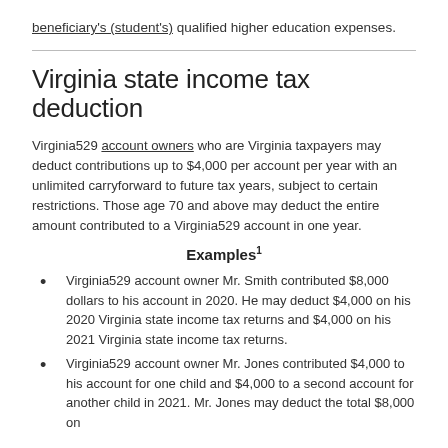beneficiary's (student's) qualified higher education expenses.
Virginia state income tax deduction
Virginia529 account owners who are Virginia taxpayers may deduct contributions up to $4,000 per account per year with an unlimited carryforward to future tax years, subject to certain restrictions. Those age 70 and above may deduct the entire amount contributed to a Virginia529 account in one year.
Examples¹
Virginia529 account owner Mr. Smith contributed $8,000 dollars to his account in 2020. He may deduct $4,000 on his 2020 Virginia state income tax returns and $4,000 on his 2021 Virginia state income tax returns.
Virginia529 account owner Mr. Jones contributed $4,000 to his account for one child and $4,000 to a second account for another child in 2021. Mr. Jones may deduct the total $8,000 on